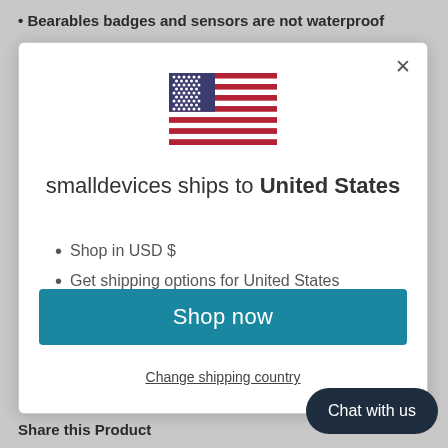Bearables badges and sensors are not waterproof
[Figure (screenshot): Modal dialog showing US flag, shipping info for United States, Shop now button, and Change shipping country link]
Shop in USD $
Get shipping options for United States
Shop now
Change shipping country
Chat with us
Share this Product